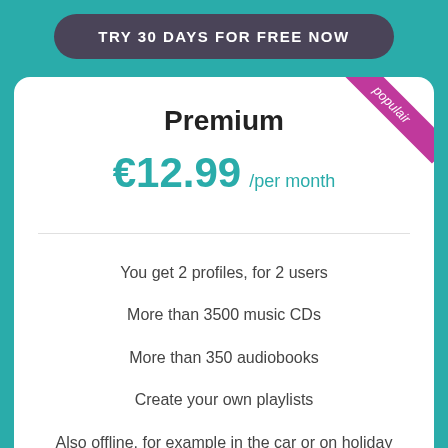TRY 30 DAYS FOR FREE NOW
Premium
€12.99 /per month
You get 2 profiles, for 2 users
More than 3500 music CDs
More than 350 audiobooks
Create your own playlists
Also offline, for example in the car or on holiday